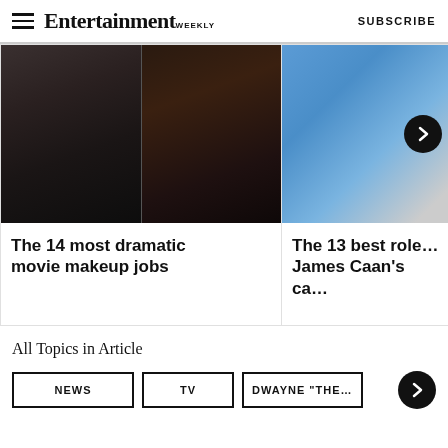Entertainment Weekly — SUBSCRIBE
[Figure (photo): Two-photo collage showing actors with dramatic movie makeup — left: man with beard in dark jacket, right: man in dark coat]
The 14 most dramatic movie makeup jobs
[Figure (photo): Smiling older man in blue shirt and patterned tie, with right-arrow navigation button overlay]
The 13 best roles of James Caan's ca…
All Topics in Article
NEWS
TV
DWAYNE "THE…